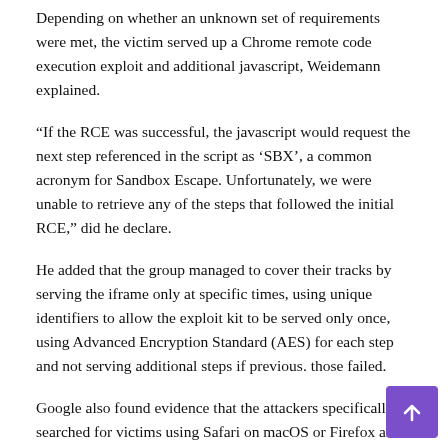Depending on whether an unknown set of requirements were met, the victim served up a Chrome remote code execution exploit and additional javascript, Weidemann explained.
“If the RCE was successful, the javascript would request the next step referenced in the script as ‘SBX’, a common acronym for Sandbox Escape. Unfortunately, we were unable to retrieve any of the steps that followed the initial RCE,” did he declare.
He added that the group managed to cover their tracks by serving the iframe only at specific times, using unique identifiers to allow the exploit kit to be served only once, using Advanced Encryption Standard (AES) for each step and not serving additional steps if previous. those failed.
Google also found evidence that the attackers specifically searched for victims using Safari on macOS or Firefox and directed them to specific links on known exploit servers.
“Attackers made multiple attempts to use the exploit days after